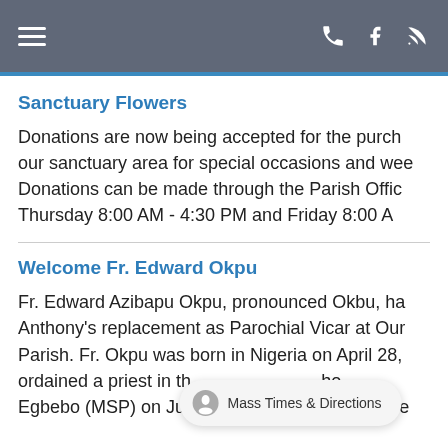Navigation bar with hamburger menu and icons for phone, facebook, and RSS feed
Sanctuary Flowers
Donations are now being accepted for the purchase of flowers for our sanctuary area for special occasions and weekends. Donations can be made through the Parish Office. Thursday 8:00 AM - 4:30 PM and Friday 8:00 A
Welcome Fr. Edward Okpu
Fr. Edward Azibapu Okpu, pronounced Okbu, ha Anthony's replacement as Parochial Vicar at Our Parish. Fr. Okpu was born in Nigeria on April 28, ordained a priest in th cho Egbebo (MSP) on July 23, 2011. In Nigeria he se
Mass Times & Directions